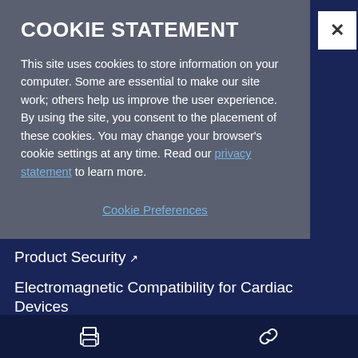COOKIE STATEMENT
This site uses cookies to store information on your computer. Some are essential to make our site work; others help us improve the user experience. By using the site, you consent to the placement of these cookies. You may change your browser's cookie settings at any time. Read our privacy statement to learn more.
Cookie Preferences
Product Security ↗
Electromagnetic Compatibility for Cardiac Devices
California Transparency in Supply Chains Act
Information About Proposition 65 for California Customers
Digital Millennium Copyright Act (DMCA) Notification
Print | Link icons